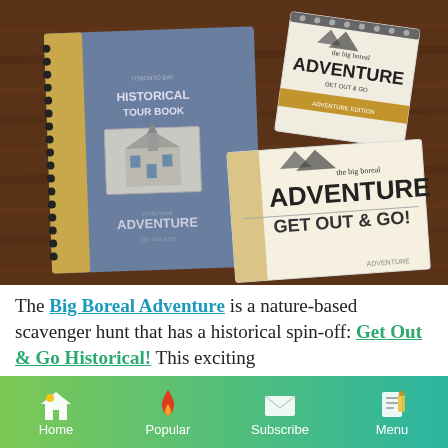[Figure (photo): Photo of a blue spiral-bound Historical Tour Book and two 'The Big Boreal Adventure - Get Out & Go!' booklets/cards laid on a wooden table.]
The Big Boreal Adventure is a nature-based scavenger hunt that has a historical spin-off: Get Out & Go Historical! This exciting...
Home | Popular | Subscribe | Menu